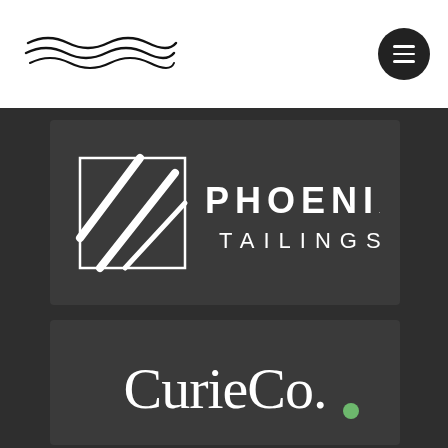[Figure (logo): Wavy lines logo in the header, resembling flowing water or wind lines, black on white background]
[Figure (other): Dark circular hamburger menu button with three horizontal white lines]
[Figure (logo): Phoenix Tailings logo: white square with diagonal hash lines on the left, text 'PHOENIX TAILINGS' in bold white spaced capitals on dark background]
[Figure (logo): CurieCo. logo: white rounded sans-serif text reading 'CurieCo.' with a small green leaf dot, on dark background]